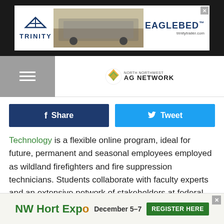[Figure (screenshot): Trinity / EagleBed advertisement banner at top of page]
[Figure (logo): North Northwest AG Network logo in navigation bar]
[Figure (screenshot): Facebook Share and Twitter Tweet social sharing buttons]
Technology is a flexible online program, ideal for future, permanent and seasonal employees employed as wildland firefighters and fire suppression technicians. Students collaborate with faculty experts and an extensive network of stakeholders at federal and state levels.
Additional opportunities for A.S. students include networking opportunities with partnering industries and completing the nationally acclaimed Idaho's Logger Education and Advance
[Figure (screenshot): NW Hort Expo December 5-7 Register Here advertisement banner at bottom of page]